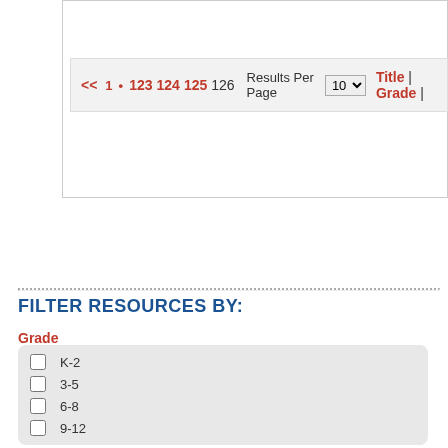<< 1 • 123 124 125 126  Results Per Page 10 ▼  Title | Grade |
FILTER RESOURCES BY:
Grade
K-2
3-5
6-8
9-12
Resource Type
Artifacts
Reviewed Websites
Reference Materials
Primary Sources